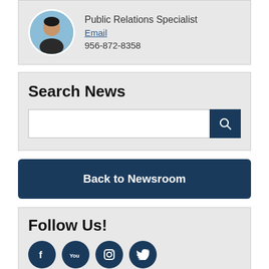[Figure (photo): Circular headshot photo of a man with a blue background]
Public Relations Specialist
Email
956-872-8358
Search News
Back to Newsroom
Follow Us!
[Figure (illustration): Social media icons: Facebook, YouTube, Instagram, Twitter]